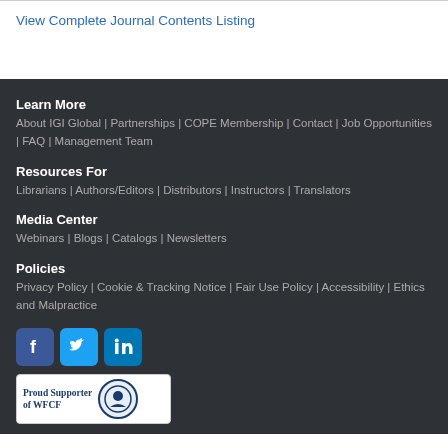View Complete Journal Contents Listing
Learn More
About IGI Global | Partnerships | COPE Membership | Contact | Job Opportunities | FAQ | Management Team
Resources For
Librarians | Authors/Editors | Distributors | Instructors | Translators
Media Center
Webinars | Blogs | Catalogs | Newsletters
Policies
Privacy Policy | Cookie & Tracking Notice | Fair Use Policy | Accessibility | Ethics and Malpractice
[Figure (logo): Social media icons: Facebook, Twitter, LinkedIn]
[Figure (logo): Proud Supporter of WFCF badge with seal]